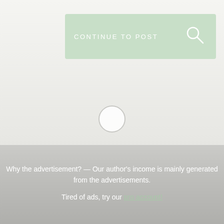[Figure (screenshot): A light green rounded rectangular button bar with the text 'CONTINUE TO POST' and a search/magnifying glass icon on the right side]
[Figure (other): A circular loading spinner indicator, gray outline circle with white fill, centered on a light gray gradient background]
Why the advertisement? — Our author's income is mainly generated from the advertisements.
Tired of ads, try our pro account!